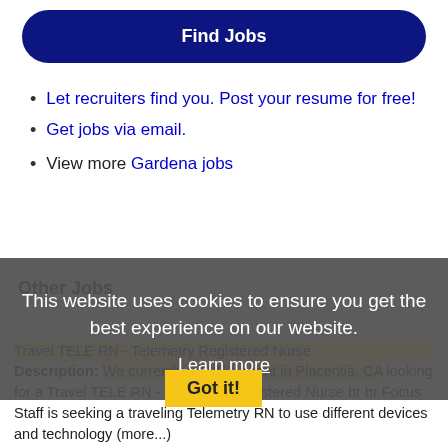[Figure (other): Dark navy blue rounded button labeled 'Find Jobs']
Let recruiters find you. Post your resume for free!
Get jobs via email.
View more Gardena jobs
Other Jobs
This website uses cookies to ensure you get the best experience on our website.
Learn more
Got it!
Travel TELE RN - Telemetry Registered Nurse Description: We currently HAVE a client in Placentia, CA looking for a Travel TELE RN - Telemetry Registered Nurse br br Focus Staff is seeking a traveling Telemetry RN to use different devices and technology (more...)